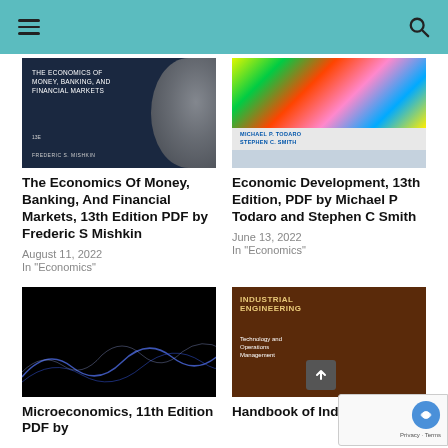Navigation header with hamburger menu and search icon
[Figure (photo): Book cover: The Economics of Money, Banking, and Financial Markets, 13E by Frederic S. Mishkin — dark navy background with coins]
The Economics Of Money, Banking, And Financial Markets, 13th Edition PDF by Frederic S Mishkin
August 11, 2022
In "Economics"
[Figure (photo): Book cover: Economic Development 13th Edition by Michael P. Todaro and Stephen C. Smith — colorful globe image]
Economic Development, 13th Edition, PDF by Michael P Todaro and Stephen C Smith
June 13, 2022
In "Economics"
[Figure (photo): Book cover: Microeconomics 11th Edition — dark/black background with light wave]
Microeconomics, 11th Edition PDF by
[Figure (photo): Book cover: Handbook of Industrial Engineering — Technology and Operations Management, brown background]
Handbook of Industrial